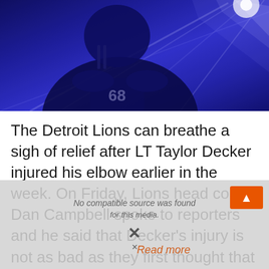[Figure (photo): A Detroit Lions football player wearing jersey number 68, photographed under blue theatrical lighting with laser beam rays in the background, creating a dramatic atmosphere likely during a pre-game tunnel entrance.]
The Detroit Lions can breathe a sigh of relief after LT Taylor Decker injured his elbow earlier in the week. On Friday, Lions head coach Dan Campbell spoke to reporters and he said that Decker's injury is not as bad as they first thought that he will practice today and should be good to go
No compatible source was found for this media.
Read more